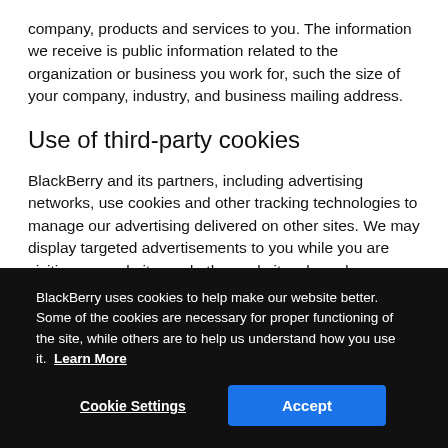company, products and services to you. The information we receive is public information related to the organization or business you work for, such the size of your company, industry, and business mailing address.
Use of third-party cookies
BlackBerry and its partners, including advertising networks, use cookies and other tracking technologies to manage our advertising delivered on other sites. We may display targeted advertisements to you while you are visiting our website, and other websites, based on information we
BlackBerry uses cookies to help make our website better. Some of the cookies are necessary for proper functioning of the site, while others are to help us understand how you use it. Learn More
Cookie Settings
Accept